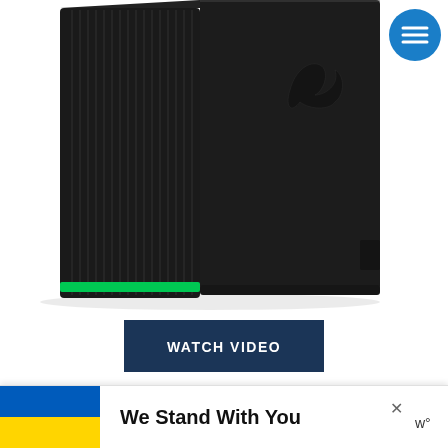[Figure (photo): Razer Core eGPU enclosure — a black rectangular box with vertical ribbed fins on the left side, a green accent strip at the bottom-left, and a Razer logo (snake emblem) on the upper-right face. Shot on white background.]
[Figure (screenshot): Blue circular hamburger menu button in the top-right corner of the page.]
[Figure (other): Dark navy blue 'WATCH VIDEO' button with white bold uppercase text.]
Razer Core
Best Premium eGPU
Power Supply: 500W
[Figure (infographic): Advertisement banner at the bottom: blue and yellow Ukrainian flag on the left, bold text 'We Stand With You' in the center, an X close button, and a small logo on the right.]